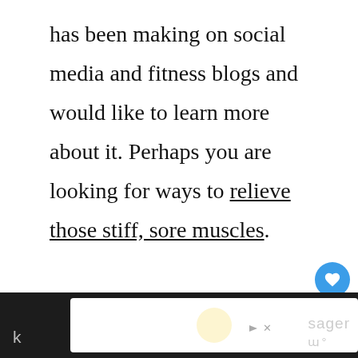has been making on social media and fitness blogs and would like to learn more about it. Perhaps you are looking for ways to relieve those stiff, sore muscles. If you're curious, this article will aim to tell you everything you need to k...
[Figure (other): UI overlay with heart/like button (blue circle, count 2) and share button]
[Figure (other): Advertisement bar at bottom with logo and close controls, partially visible text]